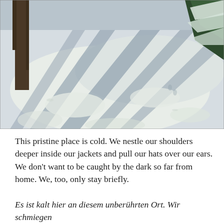[Figure (photo): Winter snow scene with long shadows cast by trees across a snowy path or clearing. The snow is bright white with blue-tinted shadow patterns. A tree trunk is visible at the left, snow-covered evergreen branches at the upper right.]
This pristine place is cold. We nestle our shoulders deeper inside our jackets and pull our hats over our ears. We don't want to be caught by the dark so far from home. We, too, only stay briefly.
Es ist kalt hier an diesem unberührten Ort. Wir schmiegen